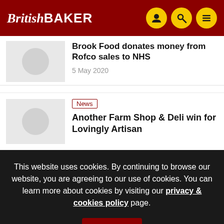British BAKER
Brook Food donates money from Rofco sales to NHS
5 May 2020
News
Another Farm Shop & Deli win for Lovingly Artisan
This website uses cookies. By continuing to browse our website, you are agreeing to our use of cookies. You can learn more about cookies by visiting our privacy & cookies policy page.
OK
Most popular   Most commented